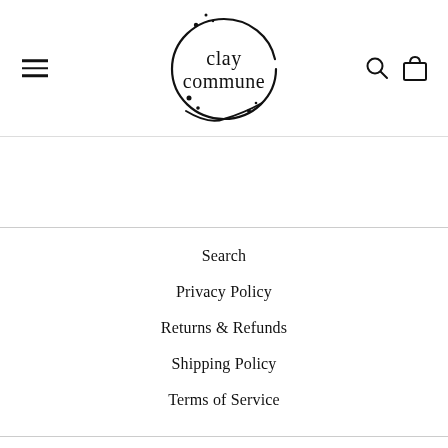[Figure (logo): Clay Commune logo: circular brush stroke with small dots, text 'clay commune' inside]
Search
Privacy Policy
Returns & Refunds
Shipping Policy
Terms of Service